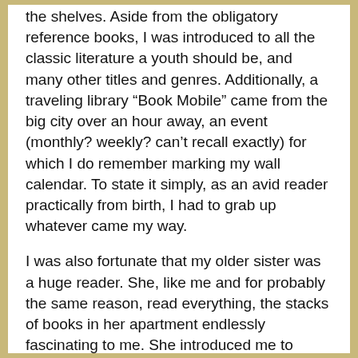the shelves. Aside from the obligatory reference books, I was introduced to all the classic literature a youth should be, and many other titles and genres. Additionally, a traveling library “Book Mobile” came from the big city over an hour away, an event (monthly? weekly? can’t recall exactly) for which I do remember marking my wall calendar. To state it simply, as an avid reader practically from birth, I had to grab up whatever came my way.
I was also fortunate that my older sister was a huge reader. She, like me and for probably the same reason, read everything, the stacks of books in her apartment endlessly fascinating to me. She introduced me to authors and huge books often beyond my intellectual ability to comprehend. But that, to my delight, was taken as a challenge by me. to be read, but if I did it...